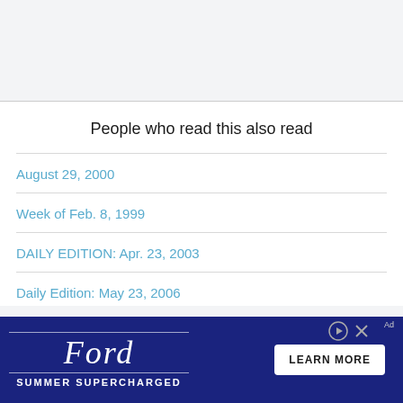People who read this also read
August 29, 2000
Week of Feb. 8, 1999
DAILY EDITION: Apr. 23, 2003
Daily Edition: May 23, 2006
[Figure (other): Ford Summer Supercharged advertisement banner with Ford logo, tagline 'SUMMER SUPERCHARGED', and 'LEARN MORE' button. Dark navy blue background.]